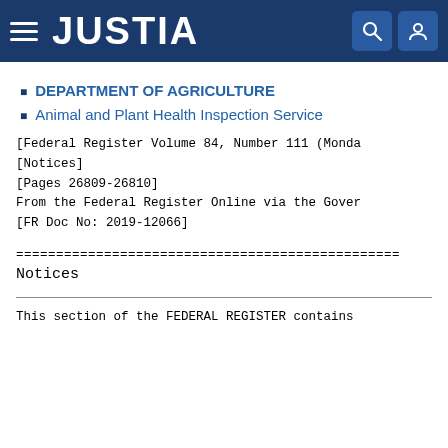JUSTIA
DEPARTMENT OF AGRICULTURE
Animal and Plant Health Inspection Service
[Federal Register Volume 84, Number 111 (Monday...]
[Notices]
[Pages 26809-26810]
From the Federal Register Online via the Govern...
[FR Doc No: 2019-12066]
========================================...
Notices
This section of the FEDERAL REGISTER contains